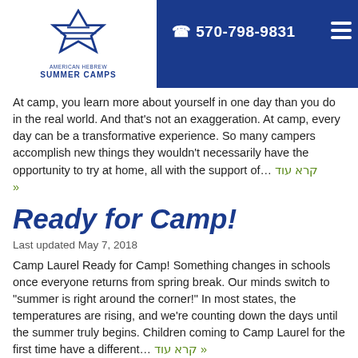570-798-9831
At camp, you learn more about yourself in one day than you do in the real world. And that’s not an exaggeration. At camp, every day can be a transformative experience. So many campers accomplish new things they wouldn’t necessarily have the opportunity to try at home, all with the support of… קרא עוד »
Ready for Camp!
Last updated May 7, 2018
Camp Laurel Ready for Camp! Something changes in schools once everyone returns from spring break. Our minds switch to “summer is right around the corner!” In most states, the temperatures are rising, and we’re counting down the days until the summer truly begins. Children coming to Camp Laurel for the first time have a different… קרא עוד »
Forever Changing, Exactly the Same